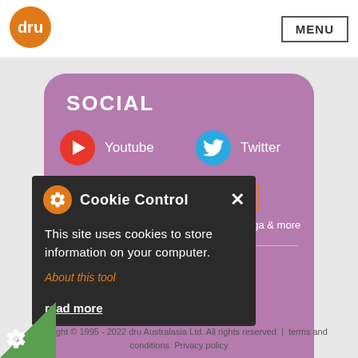[Figure (logo): Oru logo - orange circle with white text 'dru']
MENU
SOCIAL
Youtube
Twitter
Newsletter  Sign up >  Tips, news and inspiration on yoga & more
Cookie Control
This site uses cookies to store information on your computer.
About this tool
read more
Copyright © 1995 - 2022 dru Australasia Ltd. All rights reserved  |  terms and conditions  Privacy policy